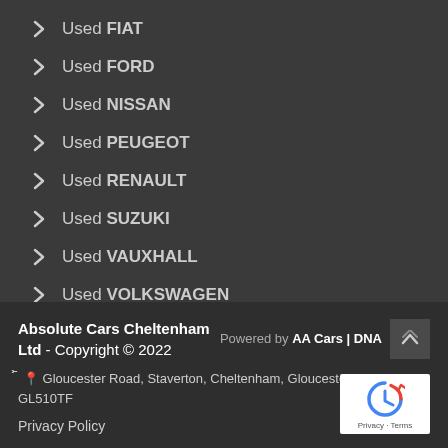Used FIAT
Used FORD
Used NISSAN
Used PEUGEOT
Used RENAULT
Used SUZUKI
Used VAUXHALL
Used VOLKSWAGEN
Absolute Cars Cheltenham Ltd - Copyright © 2022 | Powered by AA Cars | DNA | Gloucester Road, Staverton, Cheltenham, Gloucestershire, GL510TF | Privacy Policy